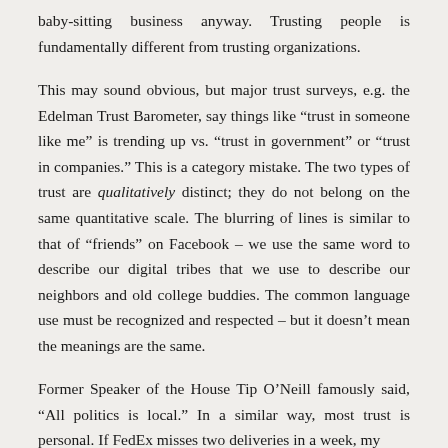baby-sitting business anyway. Trusting people is fundamentally different from trusting organizations.
This may sound obvious, but major trust surveys, e.g. the Edelman Trust Barometer, say things like “trust in someone like me” is trending up vs. “trust in government” or “trust in companies.” This is a category mistake. The two types of trust are qualitatively distinct; they do not belong on the same quantitative scale. The blurring of lines is similar to that of “friends” on Facebook – we use the same word to describe our digital tribes that we use to describe our neighbors and old college buddies. The common language use must be recognized and respected – but it doesn’t mean the meanings are the same.
Former Speaker of the House Tip O’Neill famously said, “All politics is local.” In a similar way, most trust is personal. If FedEx misses two deliveries in a week, my